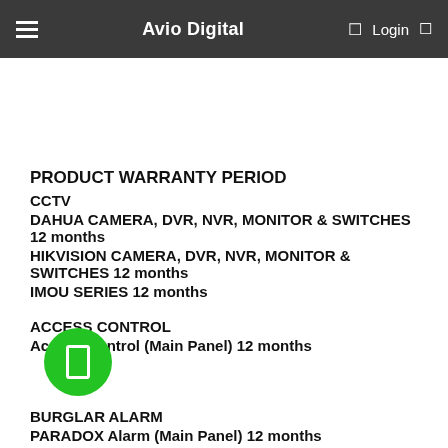Avio Digital  Login
PRODUCT WARRANTY PERIOD
CCTV
DAHUA CAMERA, DVR, NVR, MONITOR & SWITCHES 12 months
HIKVISION CAMERA, DVR, NVR, MONITOR & SWITCHES 12 months
IMOU SERIES 12 months
ACCESS CONTROL
Access Control (Main Panel) 12 months
BURGLAR ALARM
PARADOX Alarm (Main Panel) 12 months